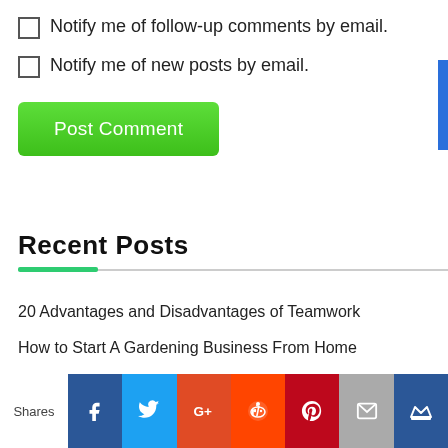Notify me of follow-up comments by email.
Notify me of new posts by email.
Post Comment
Recent Posts
20 Advantages and Disadvantages of Teamwork
How to Start A Gardening Business From Home
14 Ways to Learn How to Organize Your Life
5 Tips On How to Make Your Customer Retain and Happy
Shares | Facebook | Twitter | Google+ | Reddit | Pinterest | Email | Crown